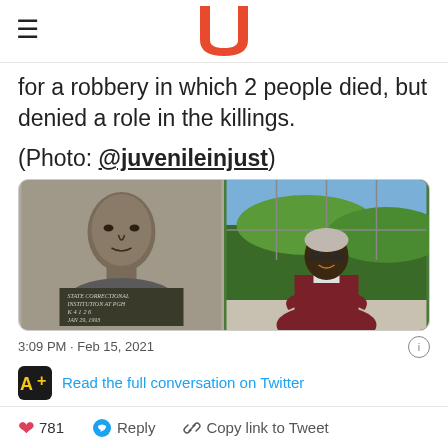Upworthy
for a robbery in which 2 people died, but denied a role in the killings.
(Photo: @juvenileinjust)
[Figure (photo): Two photos side by side: left is a black-and-white prison mugshot of a young Black man with a sign reading 'State Correctional Institution at PGH, K 4126, Jan 29, 1993'; right is a color photo of an elderly Black man in a dark red tracksuit, arms crossed, smiling in front of colorful stained glass artwork.]
3:09 PM · Feb 15, 2021
Read the full conversation on Twitter
781   Reply   Copy link to Tweet